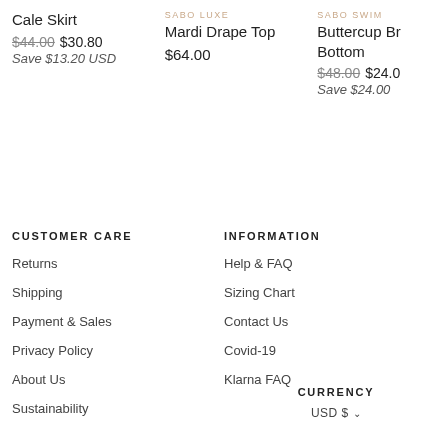Cale Skirt
$44.00 $30.80
Save $13.20 USD
SABO LUXE
Mardi Drape Top
$64.00
SABO SWIM
Buttercup Br Bottom
$48.00 $24.00
Save $24.00
CUSTOMER CARE
Returns
Shipping
Payment & Sales
Privacy Policy
About Us
Sustainability
INFORMATION
Help & FAQ
Sizing Chart
Contact Us
Covid-19
Klarna FAQ
CURRENCY
USD $ ∨